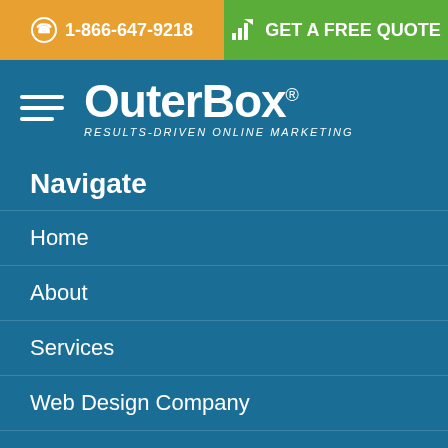☎ 1-866-647-9218
GET A FREE QUOTE
[Figure (logo): OuterBox logo with tagline RESULTS-DRIVEN ONLINE MARKETING]
Navigate
Home
About
Services
Web Design Company
eCommerce Web Design
Corporate Website Design
WordPress Website Design